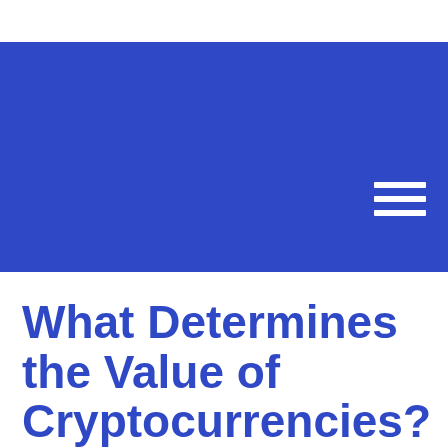[Figure (other): Blue banner header with hamburger menu icon (three white horizontal lines) in the top right corner]
What Determines the Value of Cryptocurrencies?